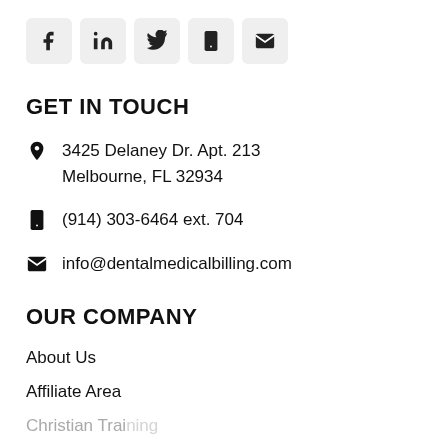[Figure (other): Row of five social media icon buttons: Facebook, LinkedIn, Twitter, Phone, Email]
GET IN TOUCH
3425 Delaney Dr. Apt. 213 Melbourne, FL 32934
(914) 303-6464 ext. 704
info@dentalmedicalbilling.com
OUR COMPANY
About Us
Affiliate Area
Christian Training